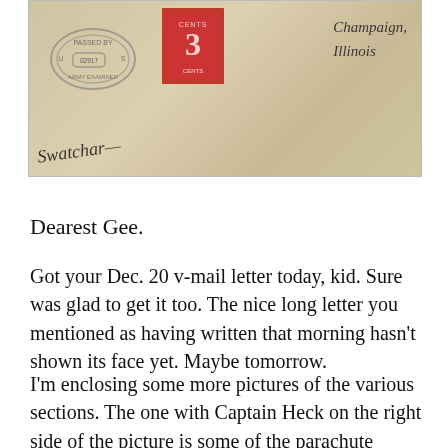[Figure (photo): Photograph of a worn envelope showing a red 3-cent postage stamp, an oval 'Passed By U.S. Army Examiner' censor stamp, handwritten address reading 'Champaign, Illinois', and a handwritten signature at bottom left.]
Dearest Gee.
Got your Dec. 20 v-mail letter today, kid. Sure was glad to get it too. The nice long letter you mentioned as having written that morning hasn't shown its face yet. Maybe tomorrow.
I'm enclosing some more pictures of the various sections. The one with Captain Heck on the right side of the picture is some of the parachute riggers. Sgt. Masmar, the fellow on